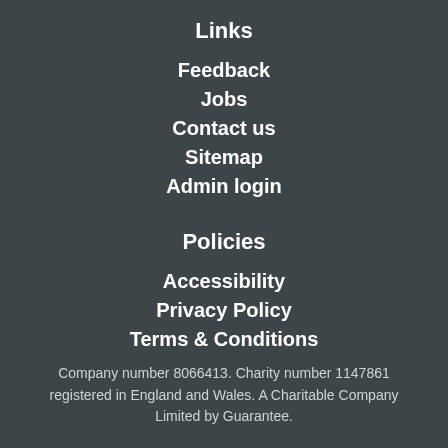Links
Feedback
Jobs
Contact us
Sitemap
Admin login
Policies
Accessibility
Privacy Policy
Terms & Conditions
Company number 8066413. Charity number 1147861 registered in England and Wales. A Charitable Company Limited by Guarantee.